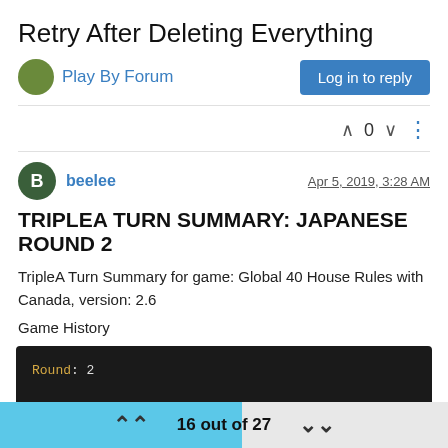Retry After Deleting Everything
Play By Forum
Log in to reply
0
beelee
Apr 5, 2019, 3:28 AM
TRIPLEA TURN SUMMARY: JAPANESE ROUND 2
TripleA Turn Summary for game: Global 40 House Rules with Canada, version: 2.6
Game History
[Figure (screenshot): Dark terminal/code block showing: Round: 2

    Purchase Units - Japanese
        Japanese buy 1 Japanese infantry, 1 airfield...]
16 out of 27